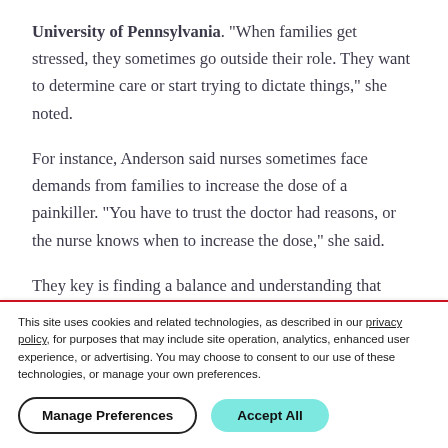University of Pennsylvania. "When families get stressed, they sometimes go outside their role. They want to determine care or start trying to dictate things," she noted.
For instance, Anderson said nurses sometimes face demands from families to increase the dose of a painkiller. "You have to trust the doctor had reasons, or the nurse knows when to increase the dose," she said.
They key is finding a balance and understanding that patients and families have unique sets of expertise. "A nurse
This site uses cookies and related technologies, as described in our privacy policy, for purposes that may include site operation, analytics, enhanced user experience, or advertising. You may choose to consent to our use of these technologies, or manage your own preferences.
Manage Preferences
Accept All